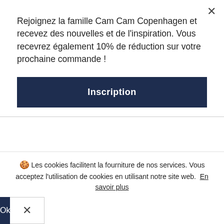Rejoignez la famille Cam Cam Copenhagen et recevez des nouvelles et de l'inspiration. Vous recevrez également 10% de réduction sur votre prochaine commande !
Inscription
Autour de la table à langer, vous devrez ranger de nombreux objets différents. Vous et votre bébé allez passer de nombreuses heures à la table à langer, et vous devez rendre l'espace confortable. Nos étagères en bois pour enfant Harlequin peuvent être un élément pratique et mignon pour la zone à langer. L'utilisation des étagères près de la table à
🍪 Les cookies facilitent la fourniture de nos services. Vous acceptez l'utilisation de cookies en utilisant notre site web. En savoir plus
Ok